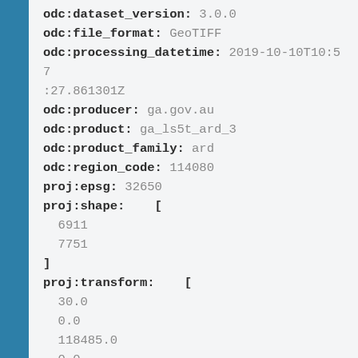odc:dataset_version: 3.0.0
odc:file_format: GeoTIFF
odc:processing_datetime: 2019-10-10T10:57:27.861301Z
odc:producer: ga.gov.au
odc:product: ga_ls5t_ard_3
odc:product_family: ard
odc:region_code: 114080
proj:epsg: 32650
proj:shape:    [
  6911
  7751
]
proj:transform:    [
  30.0
  0.0
  118485.0
  0.0
  -30.0
  -3092685.0